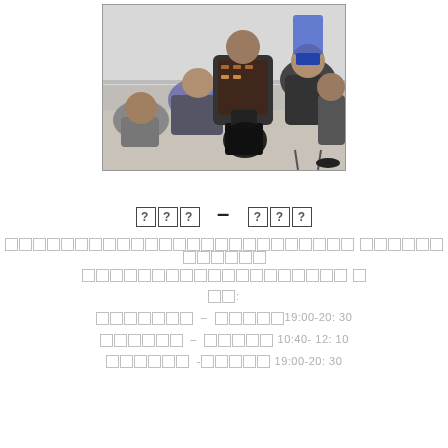[Figure (photo): Classroom photo showing students seated on chairs, viewed from behind, in a room with a whiteboard or wall visible at the front.]
??? – ???
????????????????????????????????? ????????????
??????????????????? ?
??:
??????? – ?????19:00-20: 30
?????? – ????? 10:40- 12: 10
?????? -????? 19:00-20: 30